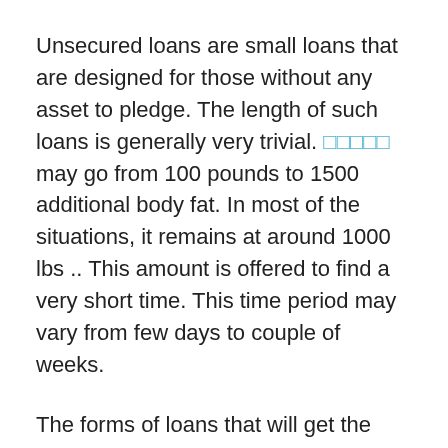Unsecured loans are small loans that are designed for those without any asset to pledge. The length of such loans is generally very trivial. □□□□□ may go from 100 pounds to 1500 additional body fat. In most of the situations, it remains at around 1000 lbs .. This amount is offered to find a very short time. This time period may vary from few days to couple of weeks.
The forms of loans that will get the emergency cash you need are not obtained at your local lending institution. Instead, you must get and also search for fast payday loans no credit check slick cash loan advance companies. Generally, it takes 24 hours at least to this kind of money a person and skin doctor need to talk to an agent.
In no credit auto loans, collateral plays a huge role. In auto financing, the car is part of your value. The lenders